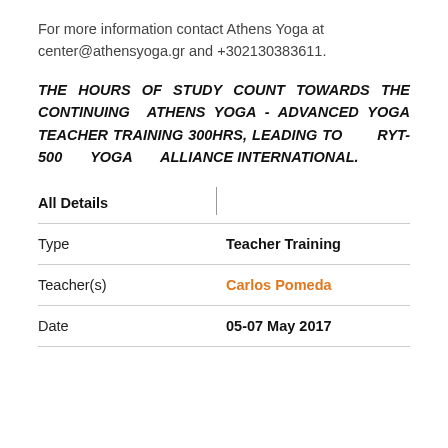For more information contact Athens Yoga at center@athensyoga.gr and +302130383611.
THE HOURS OF STUDY COUNT TOWARDS THE CONTINUING ATHENS YOGA - ADVANCED YOGA TEACHER TRAINING 300HRS, LEADING TO RYT-500 YOGA ALLIANCE INTERNATIONAL.
| All Details |  |
| --- | --- |
| Type | Teacher Training |
| Teacher(s) | Carlos Pomeda |
| Date | 05-07 May 2017 |